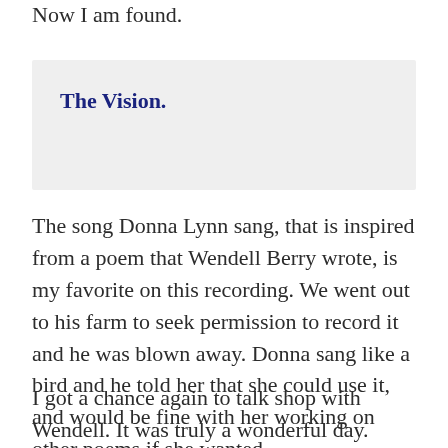Now I am found.
The Vision.
The song Donna Lynn sang, that is inspired from a poem that Wendell Berry wrote, is my favorite on this recording. We went out to his farm to seek permission to record it and he was blown away. Donna sang like a bird and he told her that she could use it, and would be fine with her working on other poems if she wanted.
I got a chance again to talk shop with Wendell. It was truly a wonderful day.